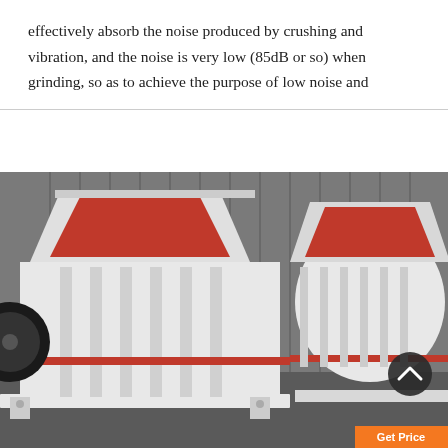effectively absorb the noise produced by crushing and vibration, and the noise is very low (85dB or so) when grinding, so as to achieve the purpose of low noise and
[Figure (photo): Two large industrial hammer crushers / impact crushers painted white with red internal components and red accent stripes, displayed in a warehouse or factory setting with a corrugated metal wall background. The machines have large feed hoppers on top and are mounted on steel base frames. A circular scroll-up navigation button is visible in the lower right area of the image.]